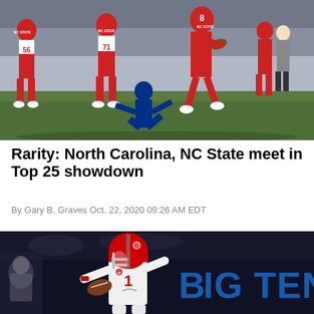[Figure (photo): NC State football players in red uniforms (numbers 56, 71, and 8) running with the ball during a game against Duke, who is shown being tackled on the ground in blue uniform]
Rarity: North Carolina, NC State meet in Top 25 showdown
By Gary B. Graves Oct. 22, 2020 09:26 AM EDT
[Figure (photo): Ohio State quarterback wearing white uniform with number 1 and red helmet, dropping back to pass, with Big Ten branding visible in the background]